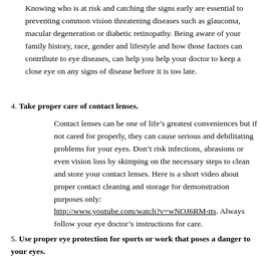Knowing who is at risk and catching the signs early are essential to preventing common vision threatening diseases such as glaucoma, macular degeneration or diabetic retinopathy. Being aware of your family history, race, gender and lifestyle and how those factors can contribute to eye diseases, can help you help your doctor to keep a close eye on any signs of disease before it is too late.
4. Take proper care of contact lenses.
Contact lenses can be one of life's greatest conveniences but if not cared for properly, they can cause serious and debilitating problems for your eyes. Don't risk infections, abrasions or even vision loss by skimping on the necessary steps to clean and store your contact lenses. Here is a short video about proper contact cleaning and storage for demonstration purposes only: http://www.youtube.com/watch?v=wNOJ6RM-tts. Always follow your eye doctor's instructions for care.
5. Use proper eye protection for sports or work that poses a danger to your eyes.